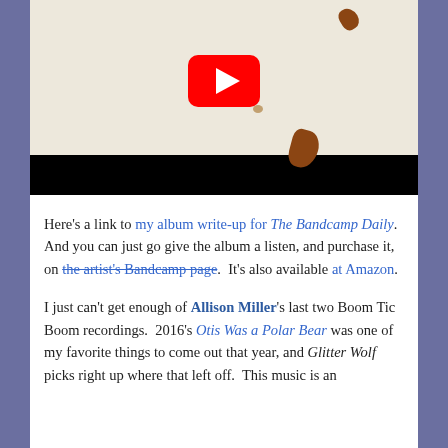[Figure (screenshot): YouTube video player thumbnail showing a beige/aged paper background with brown spots and a red YouTube play button. The bottom portion is a black bar (video controls area).]
Here's a link to my album write-up for The Bandcamp Daily.  And you can just go give the album a listen, and purchase it, on the artist's Bandcamp page.  It's also available at Amazon.
I just can't get enough of Allison Miller's last two Boom Tic Boom recordings.  2016's Otis Was a Polar Bear was one of my favorite things to come out that year, and Glitter Wolf picks right up where that left off.  This music is an